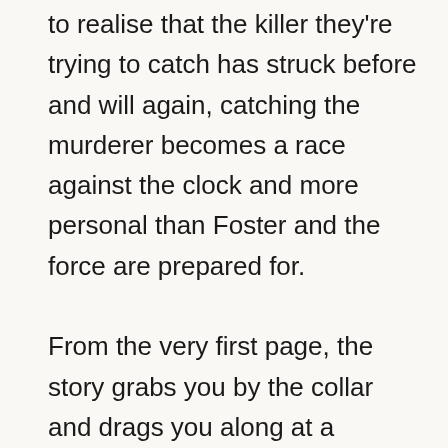to realise that the killer they're trying to catch has struck before and will again, catching the murderer becomes a race against the clock and more personal than Foster and the force are prepared for. From the very first page, the story grabs you by the collar and drags you along at a furious speed. It also doesn't steer away from gruesome (but you never feel gratuitous) detail – murder, after all, is a grisly, horrid event that